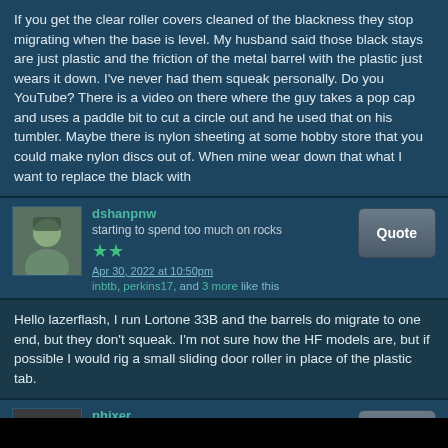If you get the clear roller covers cleaned of the blackness they stop migrating when the base is level. My husband said those black stays are just plastic and the friction of the metal barrel with the plastic just wears it down. I've never had them squeak personally. Do you YouTube? There is a video on there where the guy takes a pop cap and uses a paddle bit to cut a circle out and he used that on his tumbler. Maybe there is nylon sheeting at some hobby store that you could make nylon discs out of. When mine wear down that what I want to replace the black with
dshanpnw
starting to spend too much on rocks
Apr 30, 2022 at 10:50pm
inbtb, perkins17, and 3 more like this
Hello lazerflash, I run Lortone 33B and the barrels do migrate to one end, but they don't squeak. I'm not sure how the HF models are, but if possible I would rig a small sliding door roller in place of the plastic tab.
phixer
having dreams about rocks
Apr 30, 2022 at 11:29pm
LazerFlash likes this
I had the same issue on the single barrel version and found silicone grease